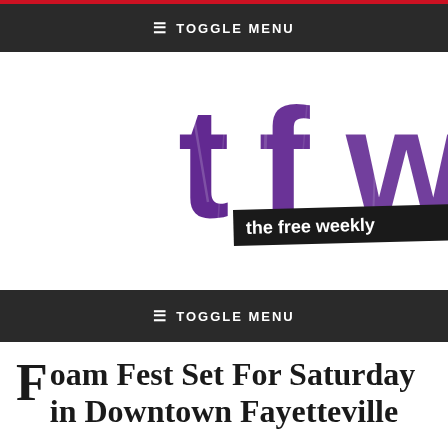≡ TOGGLE MENU
[Figure (logo): tfw - the free weekly logo in purple distressed lettering with black banner subtitle]
≡ TOGGLE MENU
Foam Fest Set For Saturday in Downtown Fayetteville
[Figure (photo): Two partial photos side by side at bottom of page, left showing green/outdoor scene, right showing lighter toned scene]